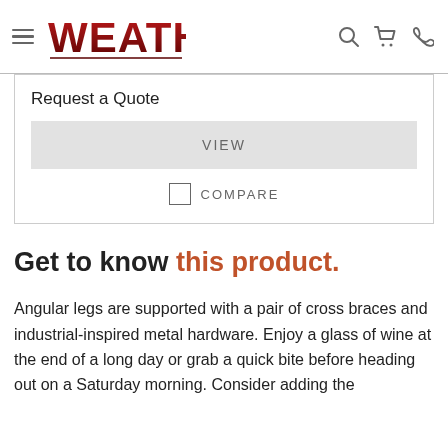WEATHERS
Request a Quote
VIEW
COMPARE
Get to know this product.
Angular legs are supported with a pair of cross braces and industrial-inspired metal hardware. Enjoy a glass of wine at the end of a long day or grab a quick bite before heading out on a Saturday morning. Consider adding the